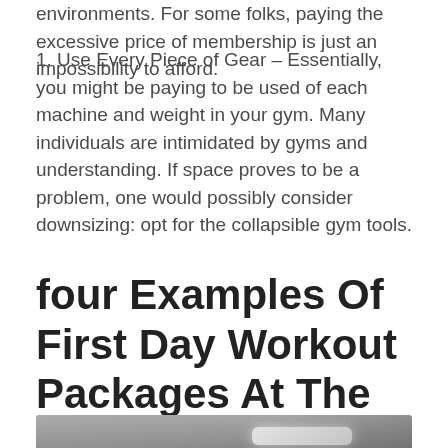environments. For some folks, paying the excessive price of membership is just an impossibility to afford.
1. Use Every Piece of Gear – Essentially, you might be paying to be used of each machine and weight in your gym. Many individuals are intimidated by gyms and understanding. If space proves to be a problem, one would possibly consider downsizing: opt for the collapsible gym tools.
four Examples Of First Day Workout Packages At The Gym
[Figure (photo): Interior photo of a gym space, dimly lit with a fluorescent light visible on the ceiling in the upper right area. The image is partially cropped showing a grey/dark gym environment.]